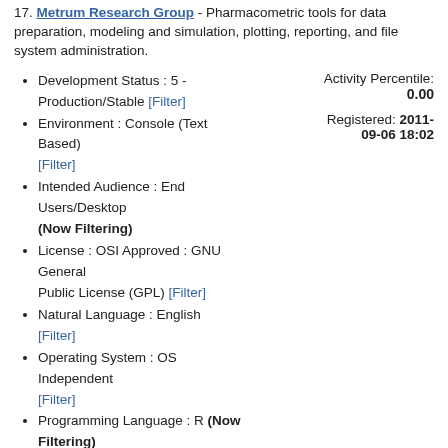17. Metrum Research Group - Pharmacometric tools for data preparation, modeling and simulation, plotting, reporting, and file system administration.
Development Status : 5 - Production/Stable [Filter]
Environment : Console (Text Based) [Filter]
Intended Audience : End Users/Desktop (Now Filtering)
License : OSI Approved : GNU General Public License (GPL) [Filter]
Natural Language : English [Filter]
Operating System : OS Independent [Filter]
Programming Language : R (Now Filtering)
Topic : Biostatistics & Medical Statistics (Now Filtering)
Activity Percentile: 0.00
Registered: 2011-09-06 18:02
18. Rigorous Analytics - Software for the quantitative analysis of medical imaging data. Medical imaging data formats include DICOM, AFNI, ANALYZE and NIfTI.
Development Status : 3 - Alpha [Filter]
Activity Percentile: 0.00